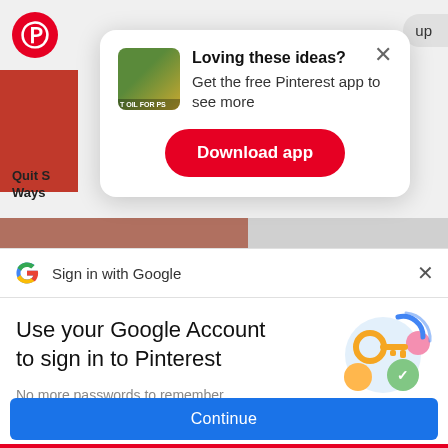[Figure (screenshot): Pinterest app popup modal on a mobile browser. Contains a coconut oil image thumbnail, bold heading 'Loving these ideas?', subtitle 'Get the free Pinterest app to see more', and a red 'Download app' button. A close X is in the top right. Behind the popup: Pinterest logo, red block, 'Quit S / Ways' text, and a brown/gray strip.]
Loving these ideas?
Get the free Pinterest app to see more
Download app
Sign in with Google
Use your Google Account to sign in to Pinterest
No more passwords to remember.
Signing in is fast, simple and secure.
Continue